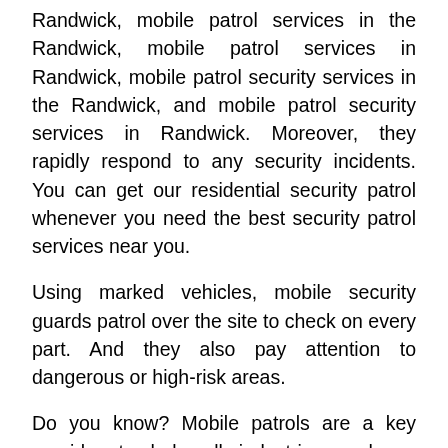Randwick, mobile patrol services in the Randwick, mobile patrol services in Randwick, mobile patrol security services in the Randwick, and mobile patrol security services in Randwick. Moreover, they rapidly respond to any security incidents. You can get our residential security patrol whenever you need the best security patrol services near you.
Using marked vehicles, mobile security guards patrol over the site to check on every part. And they also pay attention to dangerous or high-risk areas.
Do you know? Mobile patrols are a key provider to help all industries such as production, retail, company, and industrial. The mobile patrols normally look after along with current CCTV tracking and/or manned guarding, and it's a protection provider that is active day and night time. When you